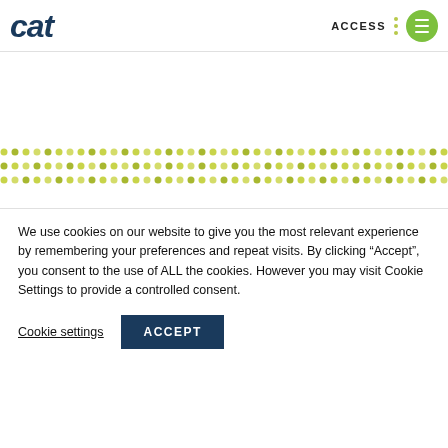cat   ACCESS
[Figure (illustration): Decorative dot pattern area with rows of small circles in yellow-green and olive colors on white background]
We use cookies on our website to give you the most relevant experience by remembering your preferences and repeat visits. By clicking “Accept”, you consent to the use of ALL the cookies. However you may visit Cookie Settings to provide a controlled consent.
Cookie settings   ACCEPT